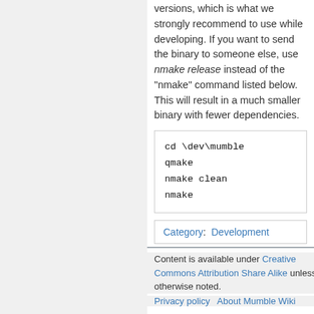versions, which is what we strongly recommend to use while developing. If you want to send the binary to someone else, use nmake release instead of the "nmake" command listed below. This will result in a much smaller binary with fewer dependencies.
cd \dev\mumble
qmake
nmake clean
nmake
Category: Development
Content is available under Creative Commons Attribution Share Alike unless otherwise noted.
Privacy policy   About Mumble Wiki